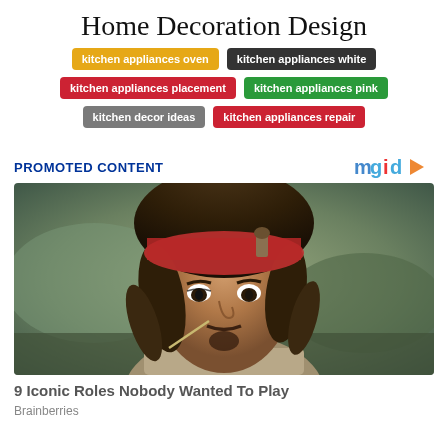Home Decoration Design
kitchen appliances oven
kitchen appliances white
kitchen appliances placement
kitchen appliances pink
kitchen decor ideas
kitchen appliances repair
PROMOTED CONTENT
[Figure (photo): Person dressed as Jack Sparrow from Pirates of the Caribbean, wearing red bandana and dreadlocks]
9 Iconic Roles Nobody Wanted To Play
Brainberries